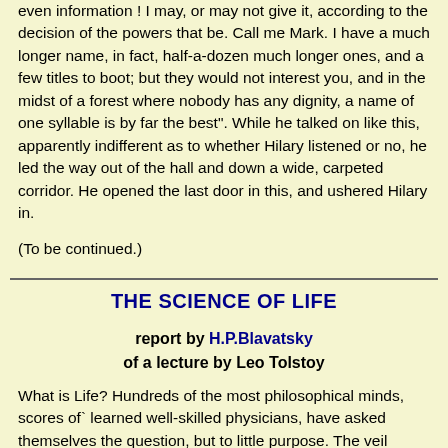even information ! I may, or may not give it, according to the decision of the powers that be. Call me Mark. I have a much longer name, in fact, half-a-dozen much longer ones, and a few titles to boot; but they would not interest you, and in the midst of a forest where nobody has any dignity, a name of one syllable is by far the best". While he talked on like this, apparently indifferent as to whether Hilary listened or no, he led the way out of the hall and down a wide, carpeted corridor. He opened the last door in this, and ushered Hilary in.
(To be continued.)
THE SCIENCE OF LIFE
report by H.P.Blavatsky of a lecture by Leo Tolstoy
What is Life? Hundreds of the most philosophical minds, scores of` learned well-skilled physicians, have asked themselves the question, but to little purpose. The veil thrown over primordial Kosmos and the mysterious beginnings of life upon it, has never been withdrawn to the satisfaction of any metaphysician. The greatest theol